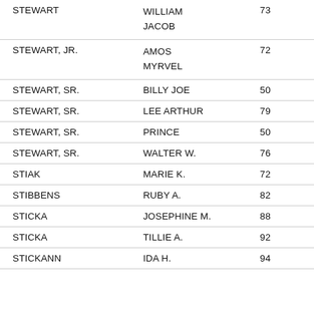| STEWART | WILLIAM
JACOB | 73 |
| STEWART, JR. | AMOS
MYRVEL | 72 |
| STEWART, SR. | BILLY JOE | 50 |
| STEWART, SR. | LEE ARTHUR | 79 |
| STEWART, SR. | PRINCE | 50 |
| STEWART, SR. | WALTER W. | 76 |
| STIAK | MARIE K. | 72 |
| STIBBENS | RUBY A. | 82 |
| STICKA | JOSEPHINE M. | 88 |
| STICKA | TILLIE A. | 92 |
| STICKANN | IDA H. | 94 |